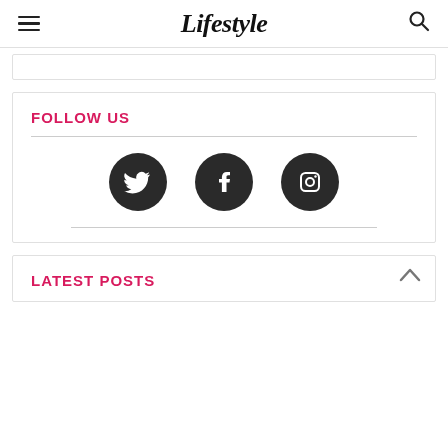Lifestyle
FOLLOW US
[Figure (illustration): Three dark circular social media icons: Twitter (bird), Facebook (f), and Instagram (camera/square) arranged in a row]
LATEST POSTS